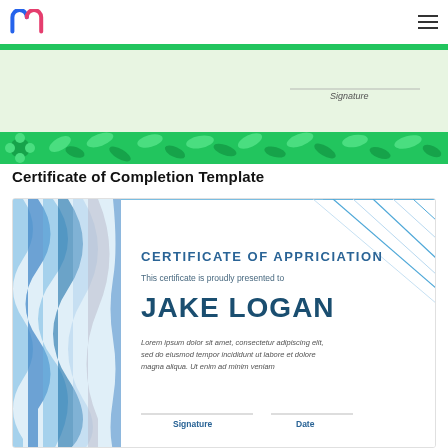[Figure (logo): Miro-style 'm' logo in blue and pink]
[Figure (illustration): Green nature-themed certificate of completion template preview showing floral/leaf border decoration and Signature line]
Certificate of Completion Template
[Figure (illustration): Blue wave-pattern certificate of appreciation template showing JAKE LOGAN as recipient with Signature and Date lines and Lorem ipsum description text]